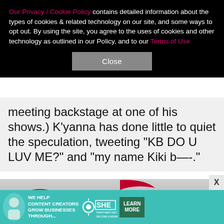Our Privacy / Cookie Policy contains detailed information about the types of cookies & related technology on our site, and some ways to opt out. By using the site, you agree to the uses of cookies and other technology as outlined in our Policy, and to our Terms of Use
[Figure (other): Close button — grey rectangular button with text 'Close']
meeting backstage at one of his shows.) K'yanna has done little to quiet the speculation, tweeting "KB DO U LUV ME?" and "my name Kiki b—-."
[Figure (photo): Photo of two people (man and woman) in front of a Children's Hospital banner/backdrop. The top of the man's head with brown curly hair is visible on the left. The woman is partially visible on the right with blonde hair. Part of a red swoosh logo and text 'Children's Hospital' is visible in the background.]
[Figure (infographic): Advertisement banner with teal background: 'WE HELP CONTENT CREATORS GROW BUSINESSES THROUGH...' with SHE Media Partner Network logo and 'LEARN MORE' button]